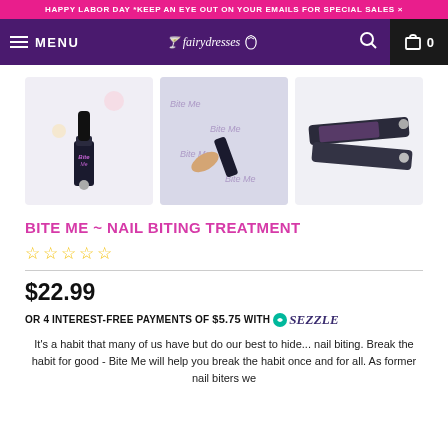HAPPY LABOR DAY *KEEP AN EYE OUT ON YOUR EMAILS FOR SPECIAL SALES ×
[Figure (screenshot): Navigation bar with hamburger menu, MENU text, logo with moon, search icon, and cart with 0]
[Figure (photo): Three product thumbnail photos of Bite Me nail biting treatment product (roller bottle and tubes)]
BITE ME ~ NAIL BITING TREATMENT
☆☆☆☆☆
$22.99
OR 4 INTEREST-FREE PAYMENTS OF $5.75 WITH ⚡ sezzle
It's a habit that many of us have but do our best to hide... nail biting. Break the habit for good - Bite Me will help you break the habit once and for all. As former nail biters we